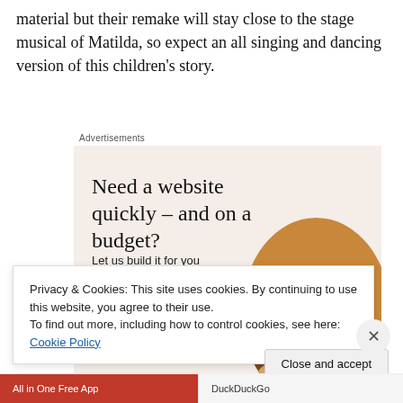material but their remake will stay close to the stage musical of Matilda, so expect an all singing and dancing version of this children's story.
Advertisements
[Figure (illustration): Advertisement for a website building service. Headline: 'Need a website quickly – and on a budget?' Subtext: 'Let us build it for you'. Button: 'Let's get started'. Circle-cropped photo of a person's hands working on a device.]
Privacy & Cookies: This site uses cookies. By continuing to use this website, you agree to their use.
To find out more, including how to control cookies, see here: Cookie Policy
All in One Free App   DuckDuckGo